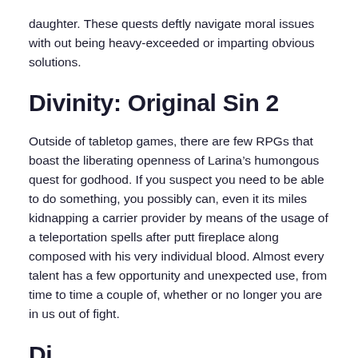daughter. These quests deftly navigate moral issues with out being heavy-exceeded or imparting obvious solutions.
Divinity: Original Sin 2
Outside of tabletop games, there are few RPGs that boast the liberating openness of Larina’s humongous quest for godhood. If you suspect you need to be able to do something, you possibly can, even it its miles kidnapping a carrier provider by means of the usage of a teleportation spells after putt fireplace along composed with his very individual blood. Almost every talent has a few opportunity and unexpected use, from time to time a couple of, whether or no longer you are in us out of fight.
Di...